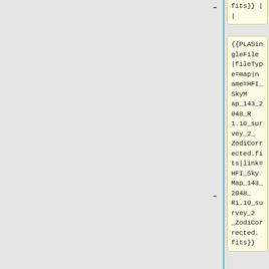fits}} ||
{{PLASingleFile|fileType=map|name=HFI_SkyMap_143_2048_R1.10_survey_2_ZodiCorrected.fits|link=HFI_SkyMap_143_2048_R1.10_survey_2_ZodiCorrected.fits}}
|-
| '''217GHz''' || {{PLASingleFile|fileType=map|name=HFI_SkyMap_217_2048_R1.10_survey_1_ZodiCorrected.fits|link=HFI_Sky...